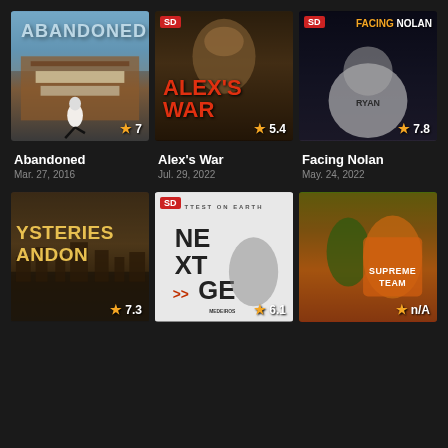[Figure (screenshot): Movie thumbnail for Abandoned with ABANDONED text, star rating 7]
Abandoned
Mar. 27, 2016
[Figure (screenshot): Movie thumbnail for Alex's War with SD badge, Alex's War title, star rating 5.4]
Alex's War
Jul. 29, 2022
[Figure (screenshot): Movie thumbnail for Facing Nolan with SD badge, FACING NOLAN title, RYAN jersey, star rating 7.8]
Facing Nolan
May. 24, 2022
[Figure (screenshot): Movie thumbnail for Mysteries Abandoned with partial text YSTERIES ANDON, star rating 7.3]
[Figure (screenshot): Movie thumbnail for Next Gen with SD badge, NEXT GEN title, star rating 6.1]
[Figure (screenshot): Movie thumbnail for Supreme Team with man in orange jacket, star rating N/A]